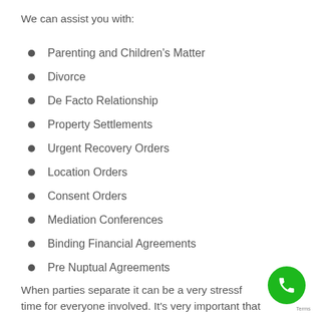We can assist you with:
Parenting and Children's Matter
Divorce
De Facto Relationship
Property Settlements
Urgent Recovery Orders
Location Orders
Consent Orders
Mediation Conferences
Binding Financial Agreements
Pre Nuptual Agreements
When parties separate it can be a very stressful time for everyone involved. It's very important that